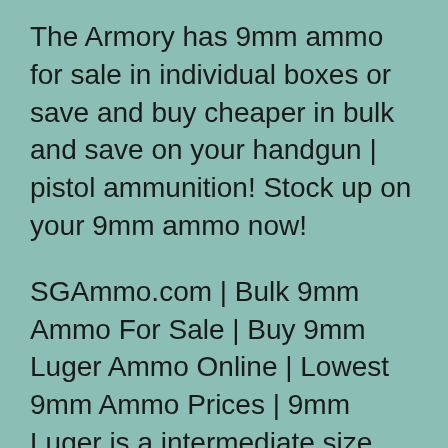The Armory has 9mm ammo for sale in individual boxes or save and buy cheaper in bulk and save on your handgun | pistol ammunition! Stock up on your 9mm ammo now!
SGAmmo.com | Bulk 9mm Ammo For Sale | Buy 9mm Luger Ammo Online | Lowest 9mm Ammo Prices | 9mm Luger is a intermediate size pistol cartridge that is widely …
9mm Ammo / 9×19 Luger Armscor Ammo – Affordable, Quality ammo from Armscor. Brass Cased, Boxer Primed, Full Copper Jacket. | 9mm – 9×19 Luger | 115gr FMJ |